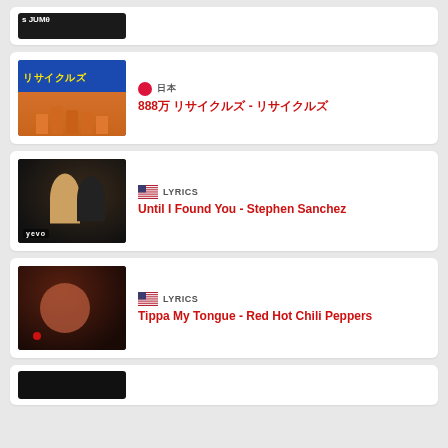[Figure (screenshot): Partial card at top showing dark video thumbnail, cropped]
[Figure (screenshot): Japanese music video thumbnail with yellow text リサイクルズ on blue background, people on beach]
🇯🇵 日本
888万 リサイクルズ - リサイクルズ
[Figure (screenshot): Concert/music video thumbnail, dark, vevo branded, two performers]
LYRICS
Until I Found You - Stephen Sanchez
[Figure (screenshot): Dark close-up music video thumbnail, Red Hot Chili Peppers]
LYRICS
Tippa My Tongue - Red Hot Chili Peppers
[Figure (screenshot): Partial dark thumbnail at bottom, cropped]